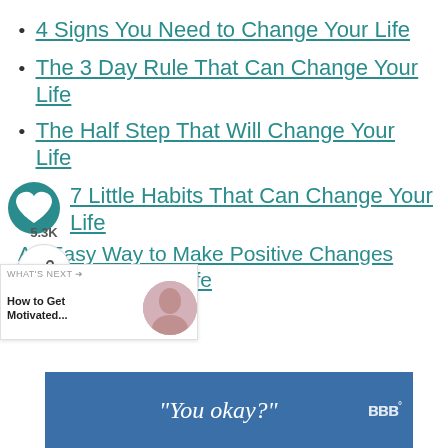4 Signs You Need to Change Your Life
The 3 Day Rule That Can Change Your Life
The Half Step That Will Change Your Life
7 Little Habits That Can Change Your Life
An Easy Way to Make Positive Changes in Your Life
[Figure (screenshot): What's Next recommendation widget showing 'How to Get Motivated...' with a circular thumbnail of a woman]
[Figure (screenshot): Advertisement banner with blue background showing text '"You okay?"' and a logo on the right]